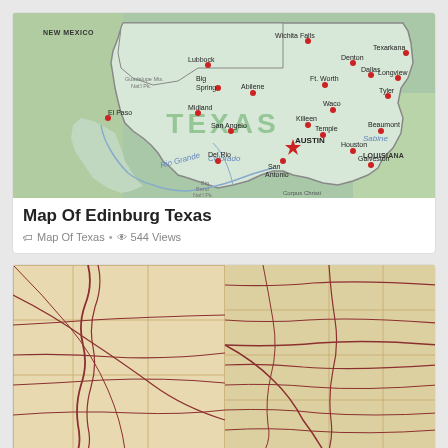[Figure (map): Map of Texas showing major cities including Wichita Falls, Lubbock, Texarkana, Denton, Dallas, Longview, Big Spring, Abilene, Ft. Worth, Tyler, El Paso, Midland, Waco, Sabine, San Angelo, Killeen, Temple, Beaumont, Colorado, Austin, Houston, Del Rio, San Antonio, Galveston, Corpus Christi, and labels for New Mexico and Louisiana borders. Red dots mark cities; Austin marked with a star.]
Map Of Edinburg Texas
Map Of Texas · 544 Views
[Figure (map): Vintage/historical tan-colored map showing railroad or road networks across what appears to be western United States states, with lines indicating routes crossing through multiple states.]